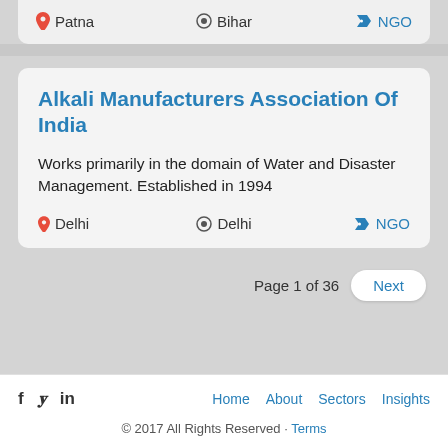Patna | Bihar | NGO
Alkali Manufacturers Association Of India
Works primarily in the domain of Water and Disaster Management. Established in 1994
Delhi | Delhi | NGO
Page 1 of 36
Home | About | Sectors | Insights | © 2017 All Rights Reserved · Terms